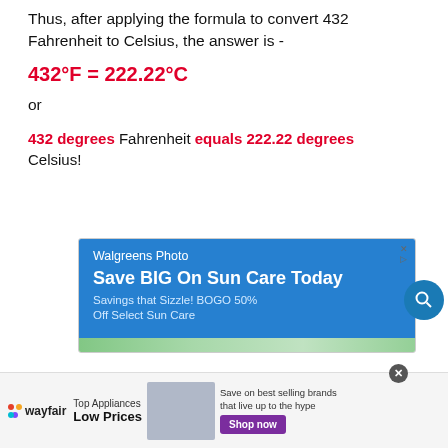Thus, after applying the formula to convert 432 Fahrenheit to Celsius, the answer is -
or
432 degrees Fahrenheit equals 222.22 degrees Celsius!
[Figure (screenshot): Walgreens Photo advertisement: Save BIG On Sun Care Today. Savings that Sizzle! BOGO 50% Off Select Sun Care]
[Figure (screenshot): Wayfair advertisement: Top Appliances Low Prices. Save on best selling brands that live up to the hype. Shop now.]